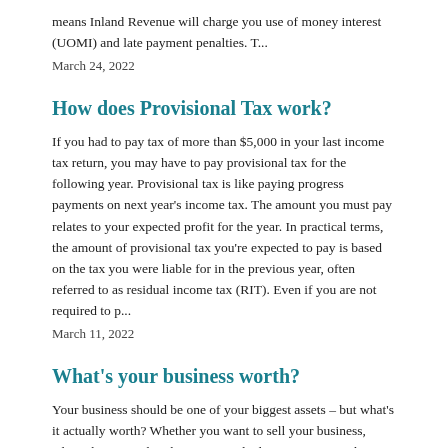means Inland Revenue will charge you use of money interest (UOMI) and late payment penalties. T...
March 24, 2022
How does Provisional Tax work?
If you had to pay tax of more than $5,000 in your last income tax return, you may have to pay provisional tax for the following year. Provisional tax is like paying progress payments on next year's income tax. The amount you must pay relates to your expected profit for the year. In practical terms, the amount of provisional tax you're expected to pay is based on the tax you were liable for in the previous year, often referred to as residual income tax (RIT). Even if you are not required to p...
March 11, 2022
What's your business worth?
Your business should be one of your biggest assets – but what's it actually worth? Whether you want to sell your business, adjust the ownership, borrow, or calculate your net worth, a business valuation can be extremely useful. Earnings and assetsThe two most important value